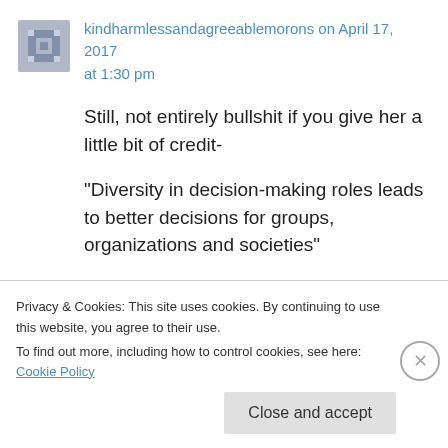kindharmlessandagreeablemorons on April 17, 2017 at 1:30 pm
Still, not entirely bullshit if you give her a little bit of credit-
“Diversity in decision-making roles leads to better decisions for groups, organizations and societies”
Obviously not true- you still want your standard high-T males with the final say- but I understand
Privacy & Cookies: This site uses cookies. By continuing to use this website, you agree to their use.
To find out more, including how to control cookies, see here: Cookie Policy
Close and accept